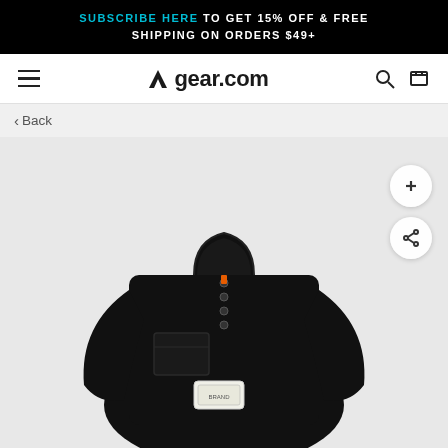SUBSCRIBE HERE TO GET 15% OFF & FREE SHIPPING ON ORDERS $49+
gear.com — navigation bar with hamburger menu, logo, search and cart icons
< Back
[Figure (photo): Black fleece pullover jacket with snap buttons at collar, chest patch pocket, and brand label patch on front, displayed on a light grey background. The jacket has a mock neck collar and long sleeves.]